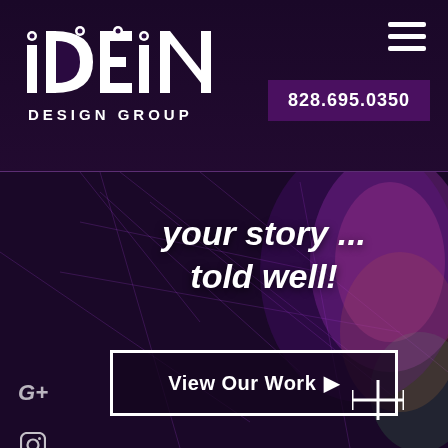[Figure (logo): iDEiN Design Group logo in white on dark purple background]
828.695.0350
[Figure (illustration): Abstract colorful face/portrait with network lines on dark purple background]
your story ... told well!
View Our Work ▶
G+
Instagram icon
f
Twitter bird icon